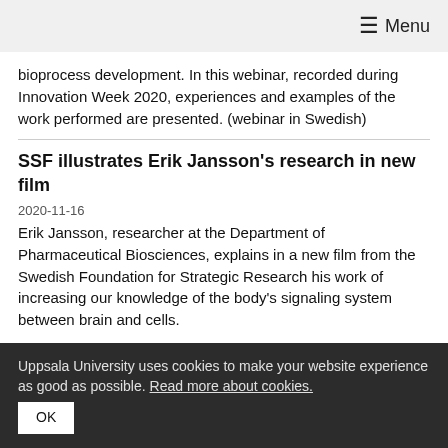≡ Menu
bioprocess development. In this webinar, recorded during Innovation Week 2020, experiences and examples of the work performed are presented. (webinar in Swedish)
SSF illustrates Erik Jansson's research in new film
2020-11-16
Erik Jansson, researcher at the Department of Pharmaceutical Biosciences, explains in a new film from the Swedish Foundation for Strategic Research his work of increasing our knowledge of the body's signaling system between brain and cells.
Uppsala University uses cookies to make your website experience as good as possible. Read more about cookies.